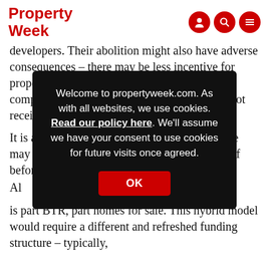Property Week [logo] [icons: user, search, menu]
developers. Their abolition might also have adverse consequences – there may be less incentive for property management of, and investment in completed developments where landlords are not receiving any ground rent.
It is an unpredictable landscape to navigate. We may see a flurry of deals to sell ground rents off before the legislation is br[obscured]
Al[obscured] w[obscured]
It [obscured] at [obscured] de[obscured] [obscured]t is part BTR, part homes for sale. This hybrid model would require a different and refreshed funding structure – typically,
Welcome to propertyweek.com. As with all websites, we use cookies. Read our policy here. We'll assume we have your consent to use cookies for future visits once agreed.